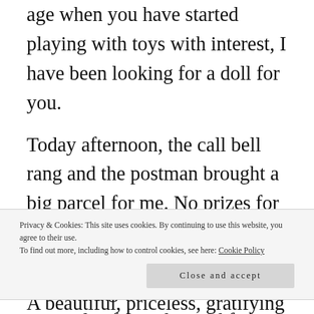age when you have started playing with toys with interest, I have been looking for a doll for you.
Today afternoon, the call bell rang and the postman brought a big parcel for me. No prizes for guessing what it contained. Yet another surprise gift. This time, it was a big doll and a cute musical soft toy dog and few Disney movie DVDs. I was excited, surprised and humbled all at once. I know it wasn't God
Privacy & Cookies: This site uses cookies. By continuing to use this website, you agree to their use.
To find out more, including how to control cookies, see here: Cookie Policy
Close and accept
A beautiful, priceless, gratifying moment. I am